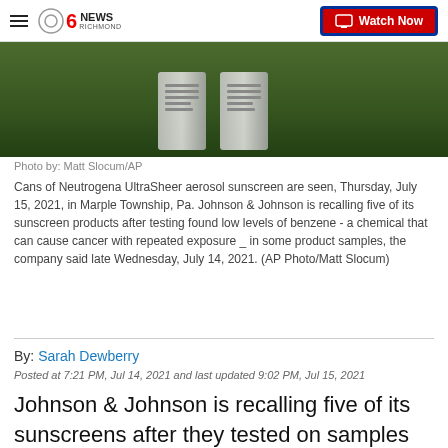CBS 6 News Richmond — Watch Now
[Figure (photo): Cans of Neutrogena UltraSheer aerosol sunscreen on a blurred green outdoor background]
Photo by: Matt Slocum/AP
Cans of Neutrogena UltraSheer aerosol sunscreen are seen, Thursday, July 15, 2021, in Marple Township, Pa. Johnson & Johnson is recalling five of its sunscreen products after testing found low levels of benzene - a chemical that can cause cancer with repeated exposure _ in some product samples, the company said late Wednesday, July 14, 2021. (AP Photo/Matt Slocum)
By: Sarah Dewberry
Posted at 7:21 PM, Jul 14, 2021 and last updated 9:02 PM, Jul 15, 2021
Johnson & Johnson is recalling five of its sunscreens after they tested on samples and found they contained low levels of benzene, which is a chemical that can potentially cause cancer.